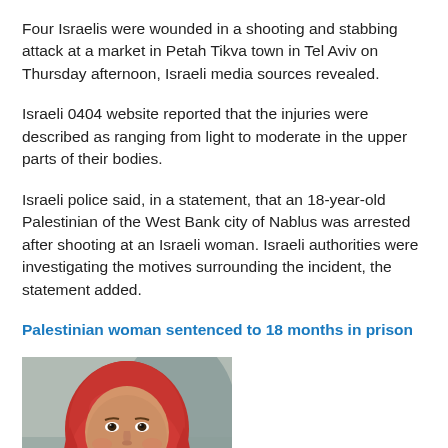Four Israelis were wounded in a shooting and stabbing attack at a market in Petah Tikva town in Tel Aviv on Thursday afternoon, Israeli media sources revealed.
Israeli 0404 website reported that the injuries were described as ranging from light to moderate in the upper parts of their bodies.
Israeli police said, in a statement, that an 18-year-old Palestinian of the West Bank city of Nablus was arrested after shooting at an Israeli woman. Israeli authorities were investigating the motives surrounding the incident, the statement added.
Palestinian woman sentenced to 18 months in prison
[Figure (photo): Portrait photo of a Palestinian woman wearing a red hijab and blue clothing, smiling at the camera]